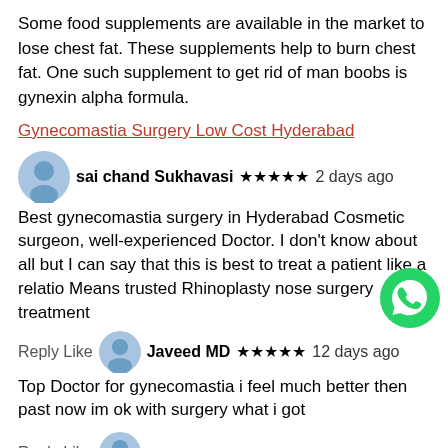Some food supplements are available in the market to lose chest fat. These supplements help to burn chest fat. One such supplement to get rid of man boobs is gynexin alpha formula.
Gynecomastia Surgery Low Cost Hyderabad
sai chand Sukhavasi ★★★★★ 2 days ago
Best gynecomastia surgery in Hyderabad Cosmetic surgeon, well-experienced Doctor. I don't know about all but I can say that this is best to treat a patient like a relatio Means trusted Rhinoplasty nose surgery treatment
Reply Like  Javeed MD ★★★★★ 12 days ago
Top Doctor for gynecomastia i feel much better then past now im ok with surgery what i got